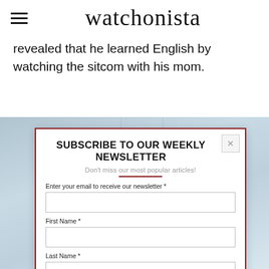watchonista
revealed that he learned English by watching the sitcom with his mom.
[Figure (screenshot): Newsletter subscription modal overlay on a blurred background image, with fields for email, first name, and last name.]